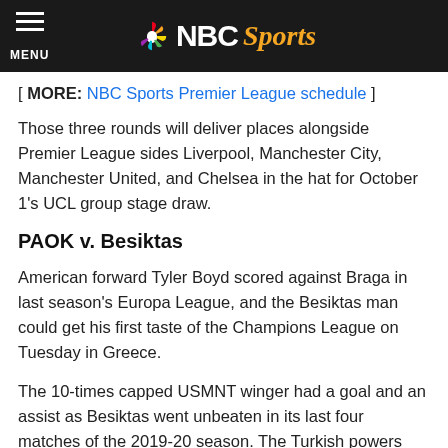NBC Sports
[ MORE: NBC Sports Premier League schedule ]
Those three rounds will deliver places alongside Premier League sides Liverpool, Manchester City, Manchester United, and Chelsea in the hat for October 1's UCL group stage draw.
PAOK v. Besiktas
American forward Tyler Boyd scored against Braga in last season's Europa League, and the Besiktas man could get his first taste of the Champions League on Tuesday in Greece.
The 10-times capped USMNT winger had a goal and an assist as Besiktas went unbeaten in its last four matches of the 2019-20 season. The Turkish powers are a minor underdog against Chuba Akpom, Jose Angel Crespo, and